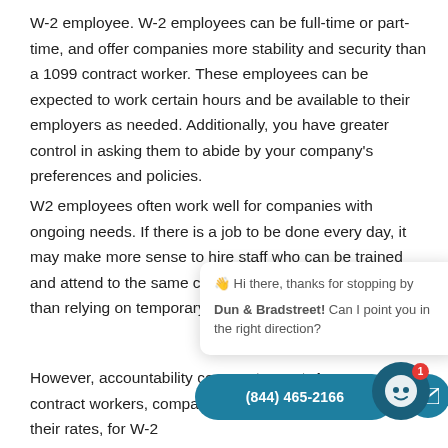W-2 employee. W-2 employees can be full-time or part-time, and offer companies more stability and security than a 1099 contract worker. These employees can be expected to work certain hours and be available to their employers as needed. Additionally, you have greater control in asking them to abide by your company's preferences and policies.
W2 employees often work well for companies with ongoing needs. If there is a job to be done every day, it may make more sense to hire staff who can be trained and attend to the same clientele on a regular basis rather than relying on temporary staff.
However, accountability comes at a cost. As compared to contract workers, companies do not withhold or pay tax on their rates, for W-2